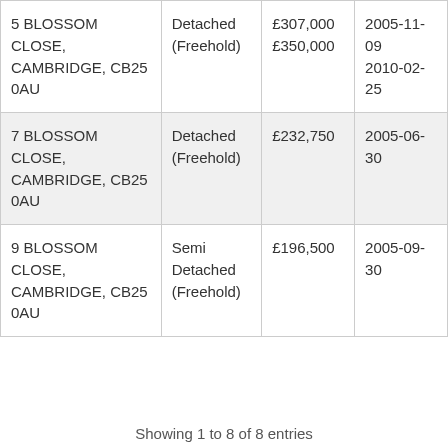| Address | Type | Price | Date |
| --- | --- | --- | --- |
| 5 BLOSSOM CLOSE, CAMBRIDGE, CB25 0AU | Detached (Freehold) | £307,000
£350,000 | 2005-11-09
2010-02-25 |
| 7 BLOSSOM CLOSE, CAMBRIDGE, CB25 0AU | Detached (Freehold) | £232,750 | 2005-06-30 |
| 9 BLOSSOM CLOSE, CAMBRIDGE, CB25 0AU | Semi Detached (Freehold) | £196,500 | 2005-09-30 |
Showing 1 to 8 of 8 entries